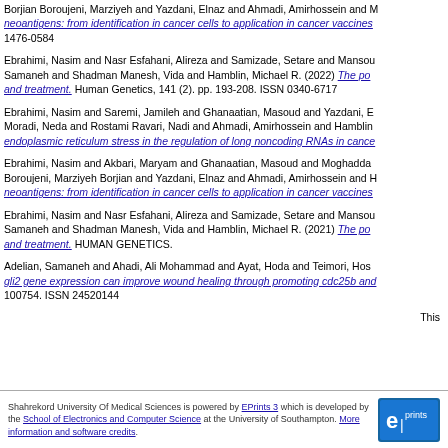Borjian Boroujeni, Marziyeh and Yazdani, Elnaz and Ahmadi, Amirhossein and ... neoantigens: from identification in cancer cells to application in cancer vaccines. 1476-0584
Ebrahimi, Nasim and Nasr Esfahani, Alireza and Samizade, Setare and Mansou... Samaneh and Shadman Manesh, Vida and Hamblin, Michael R. (2022) The po... and treatment. Human Genetics, 141 (2). pp. 193-208. ISSN 0340-6717
Ebrahimi, Nasim and Saremi, Jamileh and Ghanaatian, Masoud and Yazdani, E... Moradi, Neda and Rostami Ravari, Nadi and Ahmadi, Amirhossein and Hamblin... endoplasmic reticulum stress in the regulation of long noncoding RNAs in cance...
Ebrahimi, Nasim and Akbari, Maryam and Ghanaatian, Masoud and Moghaddda... Boroujeni, Marziyeh Borjian and Yazdani, Elnaz and Ahmadi, Amirhossein and ... neoantigens: from identification in cancer cells to application in cancer vaccines...
Ebrahimi, Nasim and Nasr Esfahani, Alireza and Samizade, Setare and Mansou... Samaneh and Shadman Manesh, Vida and Hamblin, Michael R. (2021) The po... and treatment. HUMAN GENETICS.
Adelian, Samaneh and Ahadi, Ali Mohammad and Ayat, Hoda and Teimori, Hos... gli2 gene expression can improve wound healing through promoting cdc25b and... 100754. ISSN 24520144
This
Shahrekord University Of Medical Sciences is powered by EPrints 3 which is developed by the School of Electronics and Computer Science at the University of Southampton. More information and software credits.